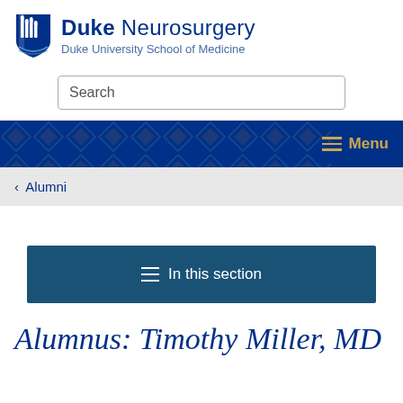[Figure (logo): Duke Neurosurgery logo with shield emblem and text 'Duke Neurosurgery / Duke University School of Medicine']
[Figure (screenshot): Search bar input field with placeholder text 'Search']
Menu
‹ Alumni
≡ In this section
Alumnus: Timothy Miller, MD